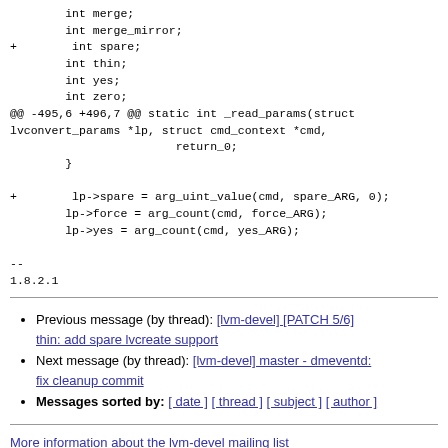int merge;
        int merge_mirror;
+        int spare;
        int thin;
        int yes;
        int zero;
@@ -495,6 +496,7 @@ static int _read_params(struct lvconvert_params *lp, struct cmd_context *cmd,
                        return_0;
        }

+        lp->spare = arg_uint_value(cmd, spare_ARG, 0);
        lp->force = arg_count(cmd, force_ARG);
        lp->yes = arg_count(cmd, yes_ARG);

--
1.8.2.1
Previous message (by thread): [lvm-devel] [PATCH 5/6] thin: add spare lvcreate support
Next message (by thread): [lvm-devel] master - dmeventd: fix cleanup commit
Messages sorted by: [ date ] [ thread ] [ subject ] [ author ]
More information about the lvm-devel mailing list